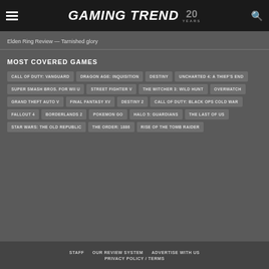GAMING TREND 20 YEARS
Elden Ring Review — Tarnished glory
MOST COVERED GAMES
CALL OF DUTY: VANGUARD
DRAGON AGE: INQUISITION
DESTINY
UNCHARTED 4: A THIEF'S END
SUPER SMASH BROS. FOR WII U
STREET FIGHTER V
THE WITCHER 3: WILD HUNT
OVERWATCH
GRAND THEFT AUTO V
FINAL FANTASY XV
DESTINY 2
CALL OF DUTY: BLACK OPS COLD WAR
FALLOUT 4
BORDERLANDS 2
POKEMON GO
HALO 5: GUARDIANS
THE LAST OF US
STAR WARS: THE OLD REPUBLIC
THE ORDER: 1886
RISE OF THE TOMB RAIDER
STAFF   OUR REVIEW SYSTEM   ADVERTISE WITH US   PRIVACY POLICY / TERMS